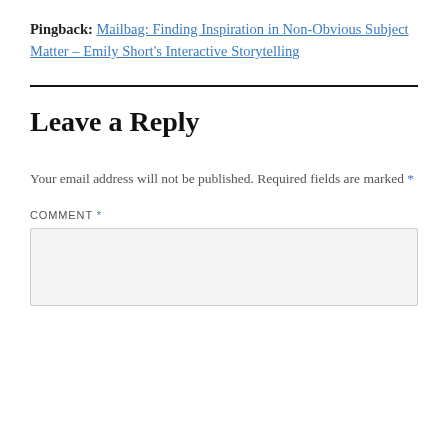Pingback: Mailbag: Finding Inspiration in Non-Obvious Subject Matter – Emily Short's Interactive Storytelling
Leave a Reply
Your email address will not be published. Required fields are marked *
COMMENT *